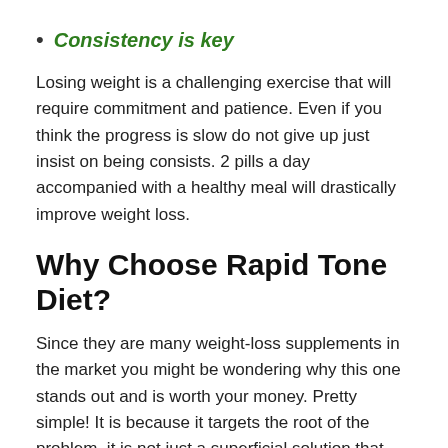Consistency is key
Losing weight is a challenging exercise that will require commitment and patience. Even if you think the progress is slow do not give up just insist on being consists. 2 pills a day accompanied with a healthy meal will drastically improve weight loss.
Why Choose Rapid Tone Diet?
Since they are many weight-loss supplements in the market you might be wondering why this one stands out and is worth your money. Pretty simple! It is because it targets the root of the problem, it is not just a superficial solution that will not be long term.